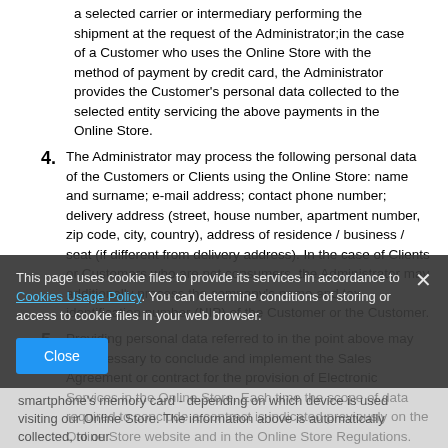a selected carrier or intermediary performing the shipment at the request of the Administrator;in the case of a Customer who uses the Online Store with the method of payment by credit card, the Administrator provides the Customer's personal data collected to the selected entity servicing the above payments in the Online Store.
4. The Administrator may process the following personal data of the Customers or Clients using the Online Store: name and surname; e-mail address; contact phone number; delivery address (street, house number, apartment number, zip code, city, country), address of residence / business / seat (if different from delivery address). In the case of Clients or Customers who are not consumers, the Administrator may additionally process the company's name and tax identification number (NIP) of the Customer or the Customer.
5. Providing personal data referred to in the point above may be necessary to conclude and implement the Sales Agreement or contract for the provision of Electronic Services in the Online Store. Each time the scope of data required to conclude a contract is indicated previously on the Online Store website and in the Online Store Regulations.
This page uses cookie files to provide its services in accordance to Cookies Usage Policy. You can determine conditions of storing or access to cookie files in your web browser.
smartphone's memory card - depending on which device is used visiting our Online Store. The information above is automatically collected, to our